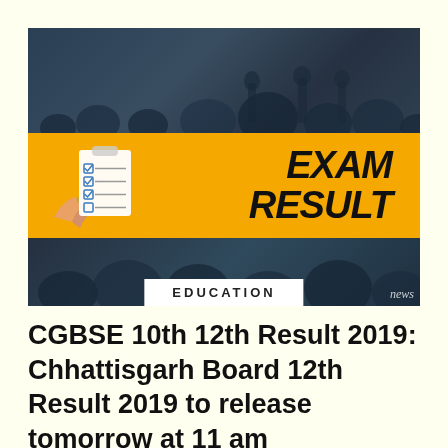[Figure (photo): Exam Result banner image: dark classroom background with students, a golden horizontal banner showing a clipboard icon on the left and 'EXAM RESULT' text on the right in bold black italic letters, with 'EDUCATION' label in white box at bottom center and 'news' watermark at bottom right.]
CGBSE 10th 12th Result 2019: Chhattisgarh Board 12th Result 2019 to release tomorrow at 11 am